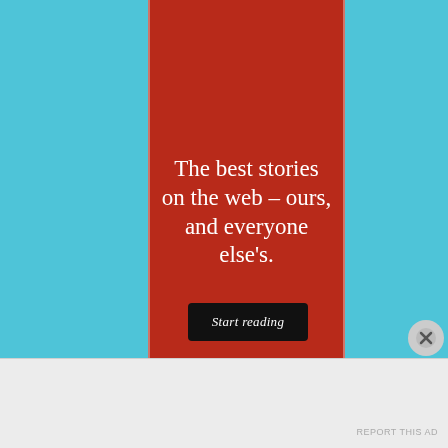[Figure (illustration): Advertisement banner with a red vertical panel on a light blue background. The red panel contains white serif text reading 'The best stories on the web – ours, and everyone else's.' with a black 'Start reading' button below. Thin white vertical borders frame the red panel.]
The best stories on the web – ours, and everyone else's.
Start reading
Advertisements
REPORT THIS AD